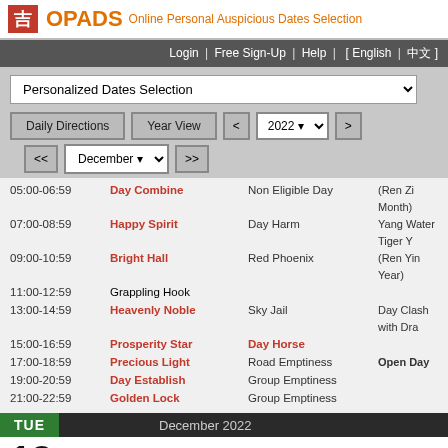吉 OPADS Online Personal Auspicious Dates Selection
Login | Free Sign-Up | Help | [ English | 中文 ]
Personalized Dates Selection
Daily Directions | Year View | < | 2022 | > | << | December | >>
| Time | Name | Modifier | Notes |
| --- | --- | --- | --- |
| 05:00-06:59 | Day Combine | Non Eligible Day | (Ren Zi Month) |
| 07:00-08:59 | Happy Spirit | Day Harm | Yang Water Tiger Y... |
| 09:00-10:59 | Bright Hall | Red Phoenix | (Ren Yin Year) |
| 11:00-12:59 | Grappling Hook |  |  |
| 13:00-14:59 | Heavenly Noble | Sky Jail | Day Clash with Dra... |
| 15:00-16:59 | Prosperity Star | Day Horse |  |
| 17:00-18:59 | Precious Light | Road Emptiness | Open Day |
| 19:00-20:59 | Day Establish | Group Emptiness |  |
| 21:00-22:59 | Golden Lock | Group Emptiness |  |
TUE   December 2022
13   11th Month, Day 20
| Time | Name | Modifier | Notes |
| --- | --- | --- | --- |
| 23:00-00:59 | Day Establish |  | Yang Metal Rat Da... |
| 01:00-02:59 | Heavenly Noble | Day Combine | (Geng Zi Day) |
| 03:00-04:59 | Day Horse | White Tiger | Yang Water Rat Mo... |
| 05:00-06:59 | Jade Hall | Sky Jail | (Ren Zi Month) |
| 07:00-08:59 | Black Tortoise | Red Phoenix | Yang Water Tiger Y... |